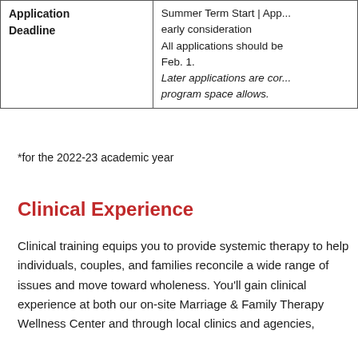| Application Deadline |  |
| --- | --- |
| Application Deadline | Summer Term Start | App... early consideration
All applications should be Feb. 1.
Later applications are cor... program space allows. |
*for the 2022-23 academic year
Clinical Experience
Clinical training equips you to provide systemic therapy to help individuals, couples, and families reconcile a wide range of issues and move toward wholeness. You'll gain clinical experience at both our on-site Marriage & Family Therapy Wellness Center and through local clinics and agencies,